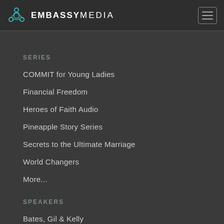EMBASSY MEDIA
SERIES
COMMIT for Young Ladies
Financial Freedom
Heroes of Faith Audio
Pineapple Story Series
Secrets to the Ultimate Marriage
World Changers
More...
SPEAKERS
Bates, Gil & Kelly